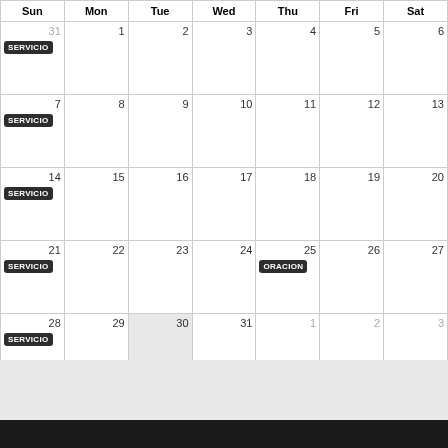| Sun | Mon | Tue | Wed | Thu | Fri | Sat |
| --- | --- | --- | --- | --- | --- | --- |
| 31 SERVICIO | 1 | 2 | 3 | 4 | 5 | 6 |
| 7 SERVICIO | 8 | 9 | 10 | 11 | 12 | 13 |
| 14 SERVICIO | 15 | 16 | 17 | 18 | 19 | 20 |
| 21 SERVICIO | 22 | 23 | 24 | 25 ORACION | 26 | 27 |
| 28 SERVICIO | 29 | 30 | 31 | 1 | 2 | 3 |